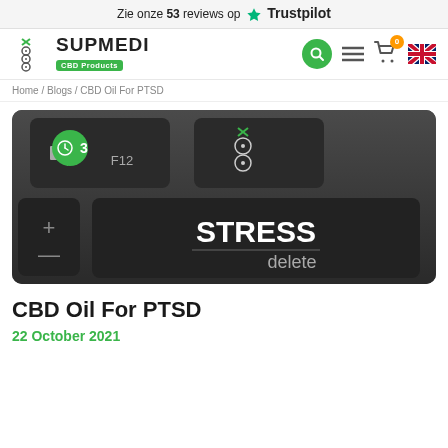Zie onze 53 reviews op ★ Trustpilot
[Figure (logo): Supmedi CBD Products logo with navigation bar including search, menu, cart (0), and UK flag icons]
Home / Blogs / CBD Oil For PTSD
[Figure (photo): Close-up photo of keyboard keys with a key labeled STRESS/delete in white text on black key, Supmedi logo on another key, F12 label, speaker icon, and a green timer badge showing 3]
CBD Oil For PTSD
22 October 2021